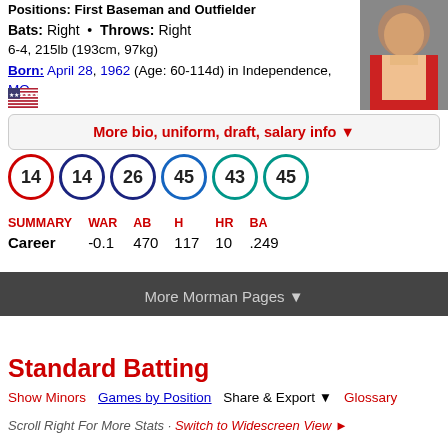Positions: First Baseman and Outfielder
Bats: Right • Throws: Right
6-4, 215lb (193cm, 97kg)
Born: April 28, 1962 (Age: 60-114d) in Independence, MO
[Figure (photo): Headshot photo of baseball player]
More bio, uniform, draft, salary info ▼
[Figure (infographic): Jersey numbers: 14, 14, 26, 45, 43, 45]
| SUMMARY | WAR | AB | H | HR | BA |
| --- | --- | --- | --- | --- | --- |
| Career | -0.1 | 470 | 117 | 10 | .249 |
More Morman Pages ▼
Standard Batting
Show Minors   Games by Position   Share & Export ▼   Glossary
Scroll Right For More Stats · Switch to Widescreen View ►